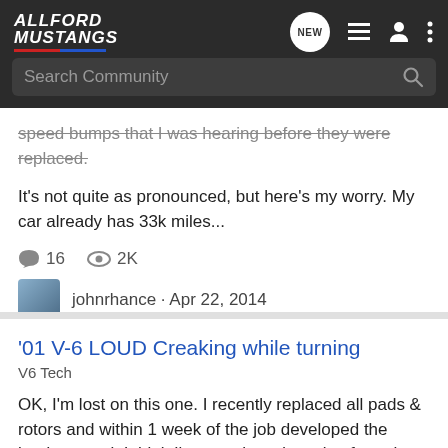AllFord Mustangs - navigation bar with search
speed bumps that I was hearing before they were replaced. It's not quite as pronounced, but here's my worry. My car already has 33k miles...
16 comments · 2K views · johnrhance · Apr 22, 2014
Tags: creaking, lower control arms, tsb
'01 V-6 LOUD Creaking while turning
V6 Tech
OK, I'm lost on this one. I recently replaced all pads & rotors and within 1 week of the job developed the loudest creak I think I've ever heard coming from the front end. I've dealt with engine/suspension noise in the past, and this is on a whole new level. It is so loud, I'm not sure the...